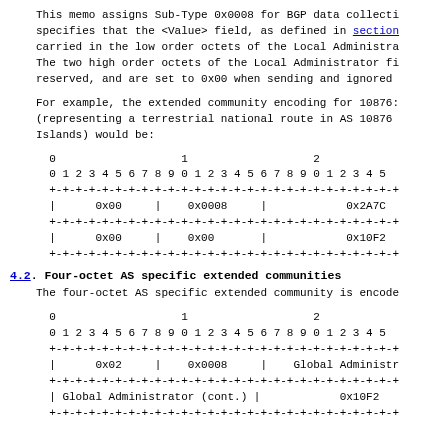This memo assigns Sub-Type 0x0008 for BGP data collecti
specifies that the <Value> field, as defined in section
carried in the low order octets of the Local Administra
The two high order octets of the Local Administrator fi
reserved, and are set to 0x00 when sending and ignored
For example, the extended community encoding for 10876:
(representing a terrestrial national route in AS 10876
Islands) would be:
[Figure (schematic): Bit diagram showing encoding fields: row 1 header 0 1 2, row 2 bit numbers 0-25, row 3 separator, row 4 fields 0x00 | 0x0008 | 0x2A7C, row 5 separator, row 6 fields 0x00 | 0x00 | 0x10F2, row 7 separator]
4.2. Four-octet AS specific extended communities
The four-octet AS specific extended community is encode
[Figure (schematic): Bit diagram showing encoding fields: row 1 header 0 1 2, row 2 bit numbers 0-25, row 3 separator, row 4 fields 0x02 | 0x0008 | Global Administr, row 5 separator, row 6 fields Global Administrator (cont.) | 0x10F2, row 7 separator]